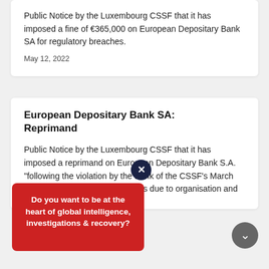Public Notice by the Luxembourg CSSF that it has imposed a fine of €365,000 on European Depositary Bank SA for regulatory breaches.
May 12, 2022
European Depositary Bank SA: Reprimand
Public Notice by the Luxembourg CSSF that it has imposed a reprimand on European Depositary Bank S.A. "following the violation by the Bank of the CSSF's March 2021 on the ment fund structures due to organisation and
Do you want to be at the heart of global intelligence, investigations & recovery?